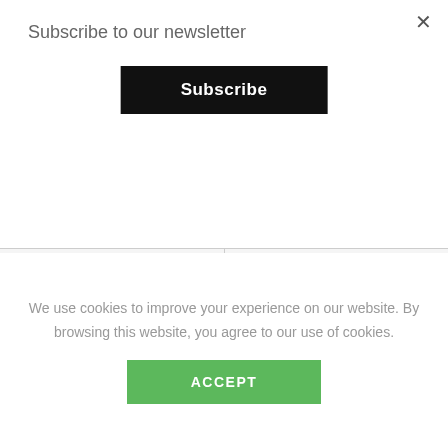Subscribe to our newsletter
×
Subscribe
[Figure (illustration): The Lion King Pumbaa FiGPiN Classic 3-Inch product — a pin in a clear display box showing the Lion King movie art, alongside a cartoon illustration of Pumbaa the warthog character]
The Lion King Pumbaa FiGPiN Classic 3-Inch
[Figure (illustration): The Lion King Zazu FiGPiN Classic 3-Inch product — a pin in a clear display box showing the Lion King movie art, alongside a cartoon illustration of Zazu the hornbill bird character]
The Lion King Zazu FiGPiN Classic 3-Inch
We use cookies to improve your experience on our website. By browsing this website, you agree to our use of cookies.
ACCEPT